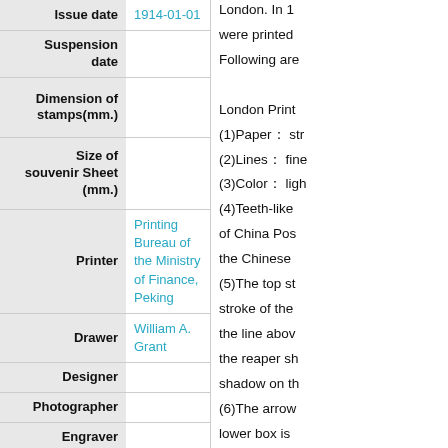| Field | Value |
| --- | --- |
| Issue date | 1914-01-01 |
| Suspension date |  |
| Dimension of stamps(mm.) |  |
| Size of souvenir Sheet (mm.) |  |
| Printer | Printing Bureau of the Ministry of Finance, Peking |
| Drawer | William A. Grant |
| Designer |  |
| Photographer |  |
| Engraver |  |
| Creative Director |  |
| Sheet | D18.1-18.17 |
London. In 1... were printed... Following are... London Print... (1)Paper: str... (2)Lines: fine... (3)Color: ligh... (4)Teeth-like... of China Pos... the Chinese ... (5)The top st... stroke of the... the line abov... the reaper sh... shadow on th... (6)The arrow... lower box is...